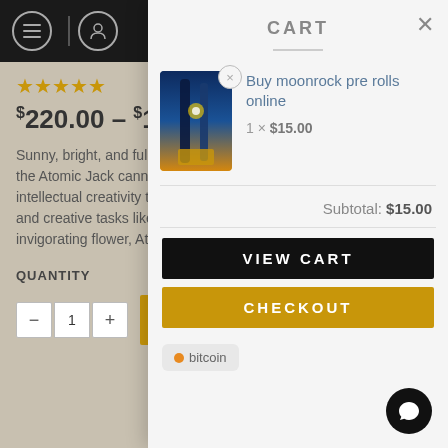[Figure (screenshot): Background cannabis product page showing star rating, price range $220.00-$1,200.00, product description text, quantity selector, and add to cart button. Top bar is black with hamburger menu and user icon.]
CART
[Figure (photo): Moonrock pre rolls product image - cylindrical packaging with blue and gold cosmic/space design]
Buy moonrock pre rolls online
1 × $15.00
Subtotal: $15.00
VIEW CART
CHECKOUT
[Figure (logo): Bitcoin payment logo - orange dot with 'bitcoin' text on light grey rounded rectangle background]